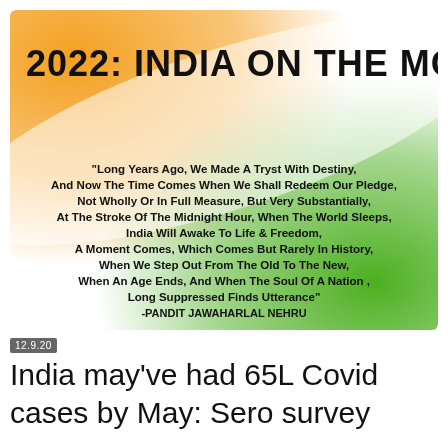[Figure (illustration): India tricolor themed background (saffron, white, green diagonal gradient) with bold title '2022: INDIA ON THE MOVE' and a quote by Pandit Jawaharlal Nehru about India's tryst with destiny.]
12.9.20
India may've had 65L Covid cases by May: Sero survey